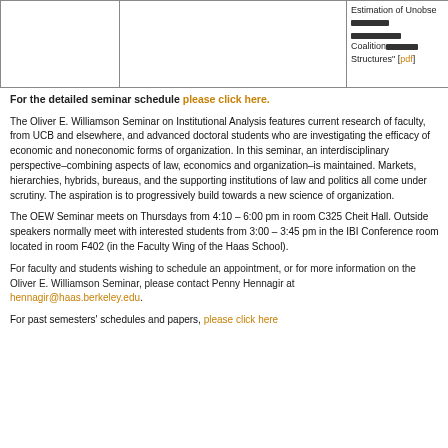|  |  | Estimation of Unobse[redacted] Coalition[redacted] Structures" [pdf] |
For the detailed seminar schedule please click here.
The Oliver E. Williamson Seminar on Institutional Analysis features current research of faculty, from UCB and elsewhere, and advanced doctoral students who are investigating the efficacy of economic and noneconomic forms of organization. In this seminar, an interdisciplinary perspective–combining aspects of law, economics and organization–is maintained. Markets, hierarchies, hybrids, bureaus, and the supporting institutions of law and politics all come under scrutiny. The aspiration is to progressively build towards a new science of organization.
The OEW Seminar meets on Thursdays from 4:10 – 6:00 pm in room C325 Cheit Hall. Outside speakers normally meet with interested students from 3:00 – 3:45 pm in the IBI Conference room located in room F402 (in the Faculty Wing of the Haas School).
For faculty and students wishing to schedule an appointment, or for more information on the Oliver E. Williamson Seminar, please contact Penny Hennagir at hennagir@haas.berkeley.edu.
For past semesters' schedules and papers, please click here